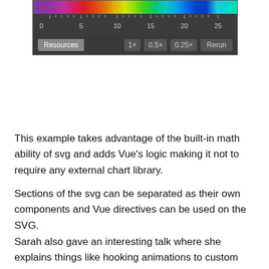[Figure (screenshot): A screenshot of an SVG spectrum/rainbow bar visualization with a ruler showing values 0-25, and playback controls including Resources, 1x, 0.5x, 0.25x, and Rerun buttons on a dark background.]
This example takes advantage of the built-in math ability of svg and adds Vue's logic making it not to require any external chart library.
Sections of the svg can be separated as their own components and Vue directives can be used on the SVG.
Sarah also gave an interesting talk where she explains things like hooking animations to custom directives, that can be found here.